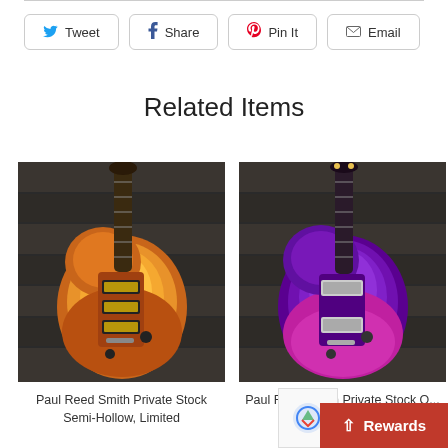Tweet | Share | Pin It | Email
Related Items
[Figure (photo): Orange/yellow flame-top PRS Paul Reed Smith Private Stock Semi-Hollow guitar on dark wood background]
[Figure (photo): Purple/violet flame-top PRS Paul Reed Smith Private Stock guitar on dark wood background]
Paul Reed Smith Private Stock Semi-Hollow, Limited
Paul Reed Smith Private Stock O...
Rewards